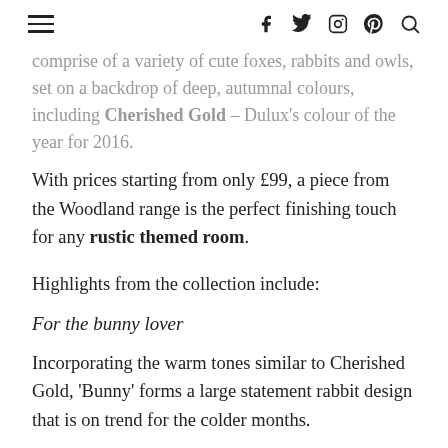≡  f  t  ◎  ⊕  🔍
comprise of a variety of cute foxes, rabbits and owls, set on a backdrop of deep, autumnal colours, including Cherished Gold – Dulux's colour of the year for 2016.
With prices starting from only £99, a piece from the Woodland range is the perfect finishing touch for any rustic themed room.
Highlights from the collection include:
For the bunny lover
Incorporating the warm tones similar to Cherished Gold, 'Bunny' forms a large statement rabbit design that is on trend for the colder months.